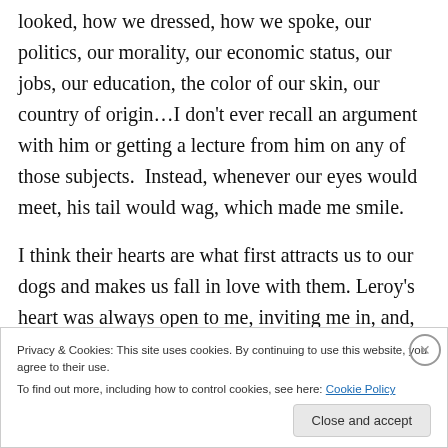looked, how we dressed, how we spoke, our politics, our morality, our economic status, our jobs, our education, the color of our skin, our country of origin…I don't ever recall an argument with him or getting a lecture from him on any of those subjects.  Instead, whenever our eyes would meet, his tail would wag, which made me smile.

I think their hearts are what first attracts us to our dogs and makes us fall in love with them. Leroy's heart was always open to me, inviting me in, and, despite its small physical size, his heart was big enough to hold without
Privacy & Cookies: This site uses cookies. By continuing to use this website, you agree to their use.
To find out more, including how to control cookies, see here: Cookie Policy